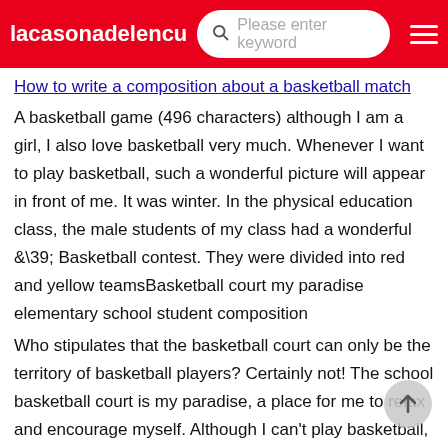lacasonadelencu... Please enter keyword
How to write a composition about a basketball match
A basketball game (496 characters) although I am a girl, I also love basketball very much. Whenever I want to play basketball, such a wonderful picture will appear in front of me. It was winter. In the physical education class, the male students of my class had a wonderful &\39; Basketball contest. They were divided into red and yellow teamsBasketball court my paradise elementary school student composition
Who stipulates that the basketball court can only be the territory of basketball players? Certainly not! The school basketball court is my paradise, a place for me to relax and encourage myself. Although I can't play basketball, it doesn't matter! There is a big playground in our schoolHow to write the composition of my paradise? Fourth grade
You can write about amusement park, small yard, your own